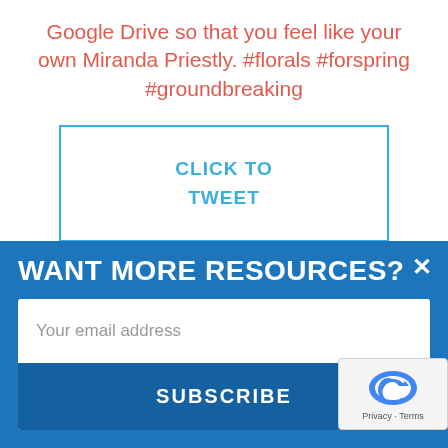Google Drive so that you feel like your own Miranda Priestly. #florals #forspring #groundbreaking
[Figure (other): CLICK TO TWEET button box with blue border]
PSST...
[Figure (infographic): WANT MORE RESOURCES? email subscription popup overlay with blue background, email input field, and SUBSCRIBE button]